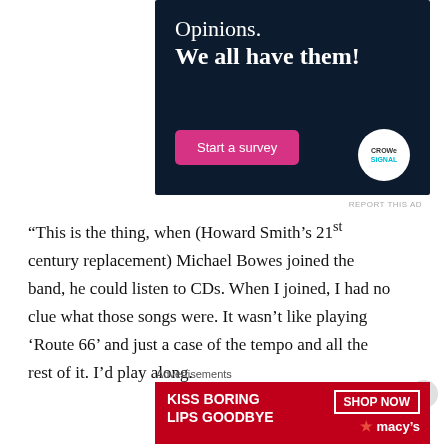[Figure (advertisement): Dark navy blue advertisement banner for CrowdSignal. Text reads 'Opinions. We all have them!' with a pink 'Start a survey' button and the CrowdSignal logo in a white circle.]
REPORT THIS AD
“This is the thing, when (Howard Smith’s 21st century replacement) Michael Bowes joined the band, he could listen to CDs. When I joined, I had no clue what those songs were. It wasn’t like playing ‘Route 66’ and just a case of the tempo and all the rest of it. I’d play along.
Advertisements
[Figure (advertisement): Red advertisement for Macy's. Text reads 'KISS BORING LIPS GOODBYE' with 'SHOP NOW' button and Macy's star logo. Shows a woman's face with red lips.]